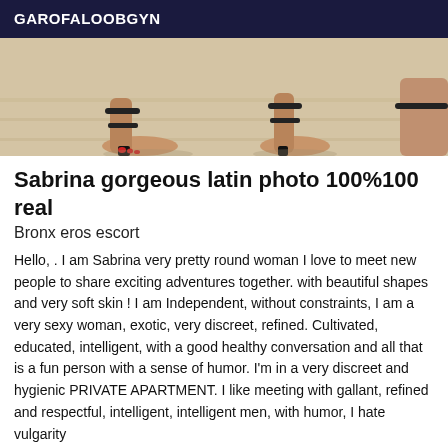GAROFALOOBGYN
[Figure (photo): Partial photo showing feet wearing sandals/heels on a light wood floor, cropped to show lower legs and feet only]
Sabrina gorgeous latin photo 100%100 real
Bronx eros escort
Hello, . I am Sabrina very pretty round woman I love to meet new people to share exciting adventures together. with beautiful shapes and very soft skin ! I am Independent, without constraints, I am a very sexy woman, exotic, very discreet, refined. Cultivated, educated, intelligent, with a good healthy conversation and all that is a fun person with a sense of humor. I'm in a very discreet and hygienic PRIVATE APARTMENT. I like meeting with gallant, refined and respectful, intelligent, intelligent men, with humor, I hate vulgarity